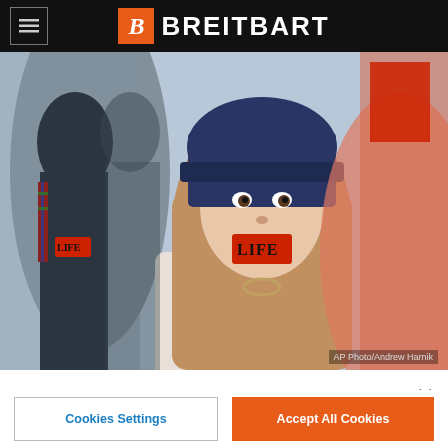BREITBART
[Figure (photo): Woman with blue knit beanie and red tape over her mouth reading LIFE at a pro-life march, with other marchers in background. AP Photo/Andrew Harnik]
AP Photo/Andrew Harnik
By clicking "Accept All Cookies", you agree to the storing of cookies on your device to enhance site navigation, analyze site usage, and assist in our marketing efforts.
Cookies Settings
Accept All Cookies